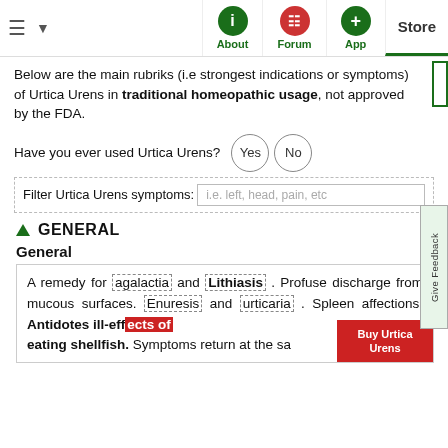About | Forum | App | Store — navigation bar
Below are the main rubriks (i.e strongest indications or symptoms) of Urtica Urens in traditional homeopathic usage, not approved by the FDA.
Have you ever used Urtica Urens?  Yes  No
Filter Urtica Urens symptoms: i.e. left, head, pain, etc
▲  GENERAL
General
A remedy for agalactia and Lithiasis . Profuse discharge from mucous surfaces. Enuresis and urticaria . Spleen affections. Antidotes ill-effects of eating shellfish. Symptoms return at the sa...